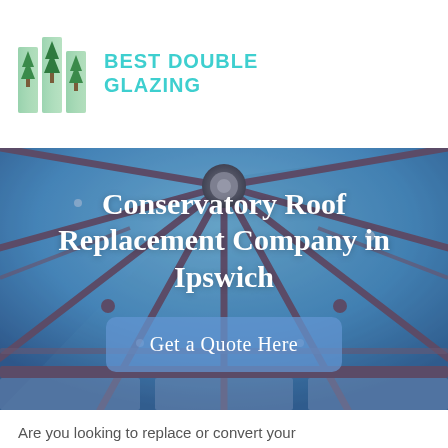[Figure (logo): Best Double Glazing logo with stylized green tree/glass panel icon and teal text]
[Figure (photo): Interior view of a conservatory roof with blue glass panels and metal frame structure, looking up from inside]
Conservatory Roof Replacement Company in Ipswich
Get a Quote Here
Are you looking to replace or convert your